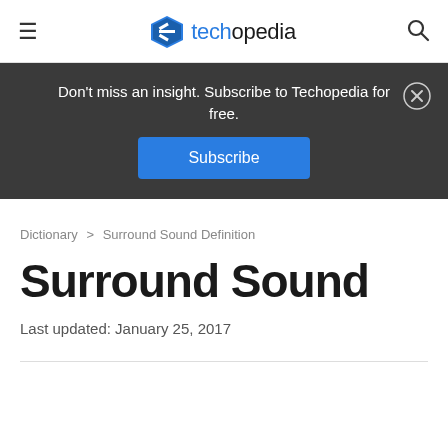techopedia
Don't miss an insight. Subscribe to Techopedia for free. Subscribe
Dictionary > Surround Sound Definition
Surround Sound
Last updated: January 25, 2017